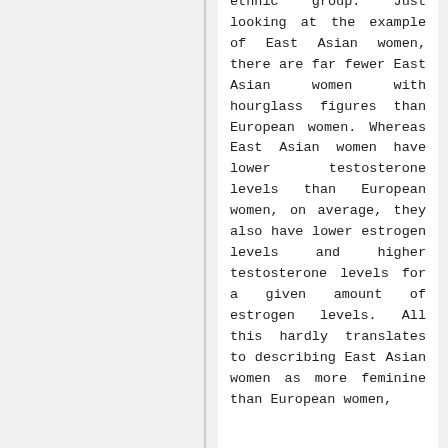ethnic group. Just looking at the example of East Asian women, there are far fewer East Asian women with hourglass figures than European women. Whereas East Asian women have lower testosterone levels than European women, on average, they also have lower estrogen levels and higher testosterone levels for a given amount of estrogen levels. All this hardly translates to describing East Asian women as more feminine than European women,